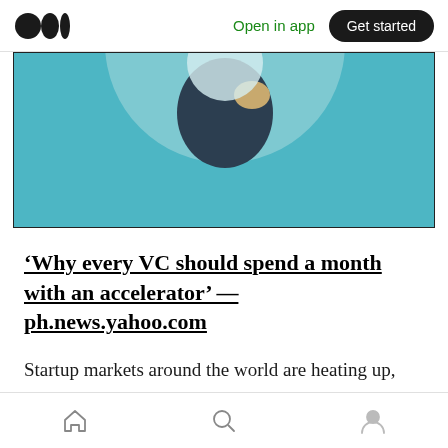Medium logo | Open in app | Get started
[Figure (illustration): Partial view of a teal/blue illustrated image showing geometric shapes — a circular element with dark navy and orange/tan pieces, resembling a stylized figurine or abstract illustration on a teal background.]
‘Why every VC should spend a month with an accelerator’ — ph.news.yahoo.com
Startup markets around the world are heating up, and more investors are competing against each other for the best deals. In the scuffle, VCs are turning to scouts to do the legwork, but that has meant being yet another step removed
Home | Search | Profile